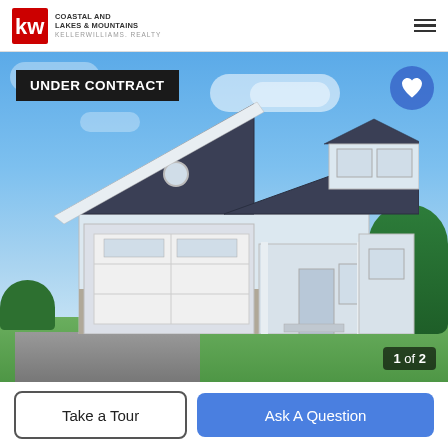KW COASTAL AND LAKES & MOUNTAINS KELLERWILLIAMS. REALTY
[Figure (photo): Exterior rendering of a two-story craftsman-style home with white/gray siding, dark roof, attached two-car garage, front porch, green lawn and landscaping. Blue sky with clouds in background. Under Contract badge in upper left. Heart/favorite button in upper right. Image counter '1 of 2' in lower right.]
UNDER CONTRACT
1 of 2
Take a Tour
Ask A Question